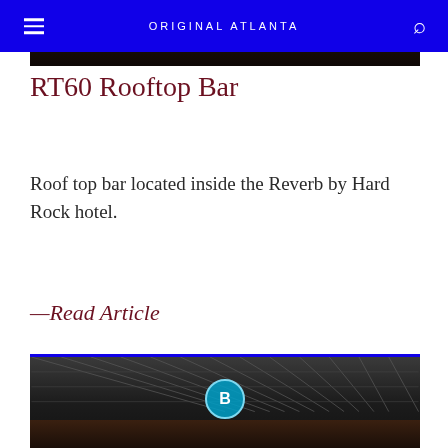ORIGINAL ATLANTA
[Figure (photo): Dark interior photo of a bar/hotel, partially visible at top]
RT60 Rooftop Bar
Roof top bar located inside the Reverb by Hard Rock hotel.
—Read Article
[Figure (photo): Interior photo of the Reverb by Hard Rock hotel showing ceiling grid and a circular B logo badge]